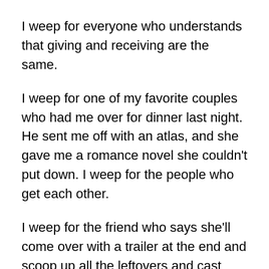I weep for everyone who understands that giving and receiving are the same.
I weep for one of my favorite couples who had me over for dinner last night. He sent me off with an atlas, and she gave me a romance novel she couldn't put down. I weep for the people who get each other.
I weep for the friend who says she'll come over with a trailer at the end and scoop up all the leftovers and cast offs. She'll store them in her boyfriend's warehouse and as new people move to town (or return, because that's what happens around here) she'll be able to give them a table, chairs, a lamp, a dresser, a soup pot, etc.